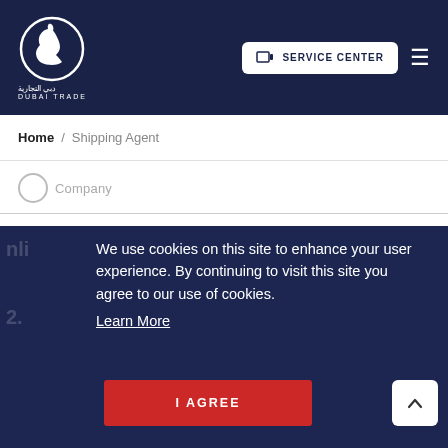[Figure (logo): Dubai Trade logo — white horse-head icon in a circle, Arabic text دبي التجارية, English text DUBAI TRADE, on dark navy header background]
SERVICE CENTER
Home / Shipping Agent
We use cookies on this site to enhance your user experience. By continuing to visit this site you agree to our use of cookies. Learn More
I AGREE